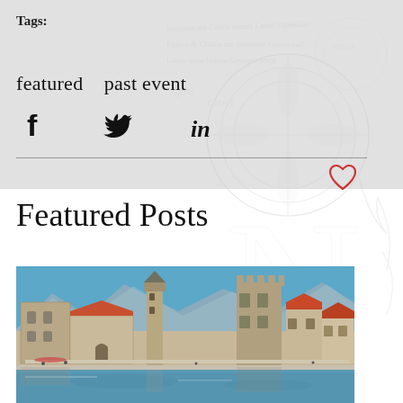Tags:
featured   past event
[Figure (infographic): Social sharing icons: Facebook (f), Twitter (bird), LinkedIn (in)]
[Figure (illustration): Heart (like/favorite) icon in red outline]
Featured Posts
[Figure (photo): Waterfront photo of a historic European coastal town (likely Trogir, Croatia) with stone buildings, red tile roofs, a church tower, and blue sky reflected in calm water.]